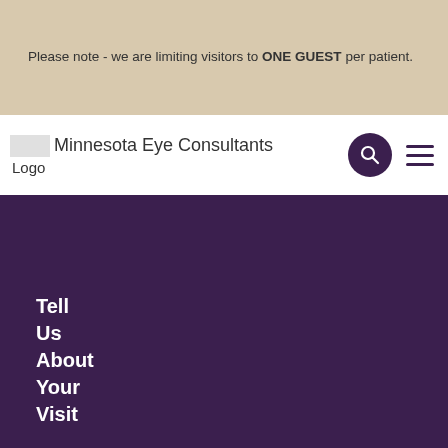Please note - we are limiting visitors to ONE GUEST per patient.
[Figure (logo): Minnesota Eye Consultants Logo]
[Figure (other): Search icon button (dark purple circle with magnifying glass) and hamburger menu icon]
Tell Us About Your Visit